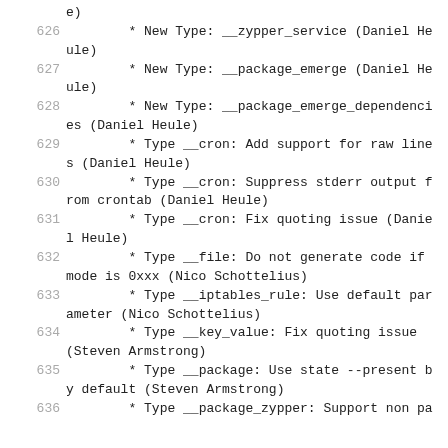e)
626    * New Type: __zypper_service (Daniel Heule)
627    * New Type: __package_emerge (Daniel Heule)
628    * New Type: __package_emerge_dependencies (Daniel Heule)
629    * Type __cron: Add support for raw lines (Daniel Heule)
630    * Type __cron: Suppress stderr output from crontab (Daniel Heule)
631    * Type __cron: Fix quoting issue (Daniel Heule)
632    * Type __file: Do not generate code if mode is 0xxx (Nico Schottelius)
633    * Type __iptables_rule: Use default parameter (Nico Schottelius)
634    * Type __key_value: Fix quoting issue (Steven Armstrong)
635    * Type __package: Use state --present by default (Steven Armstrong)
636    * Type __package_zypper: Support non pa